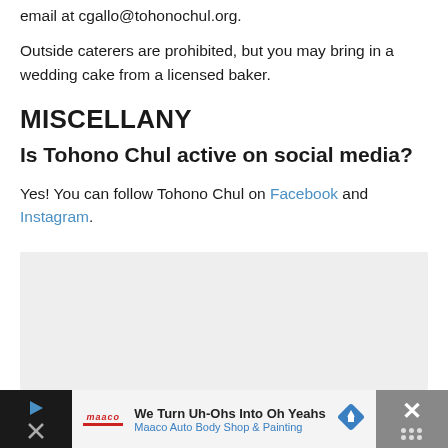email at cgallo@tohonochul.org.
Outside caterers are prohibited, but you may bring in a wedding cake from a licensed baker.
MISCELLANY
Is Tohono Chul active on social media?
Yes! You can follow Tohono Chul on Facebook and Instagram.
[Figure (other): Gray placeholder box]
[Figure (other): Advertisement bar: Maaco Auto Body Shop and Painting — We Turn Uh-Ohs Into Oh Yeahs]